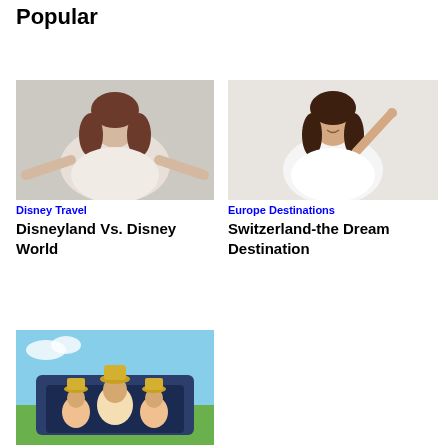Popular
[Figure (photo): Woman with hands outstretched looking confused, gray background]
Disney Travel
Disneyland Vs. Disney World
[Figure (photo): Smiling woman with long dark hair pointing upward, white background]
Europe Destinations
Switzerland-the Dream Destination
[Figure (photo): Family sitting in trunk of car with hats and sunglasses, outdoor landscape]